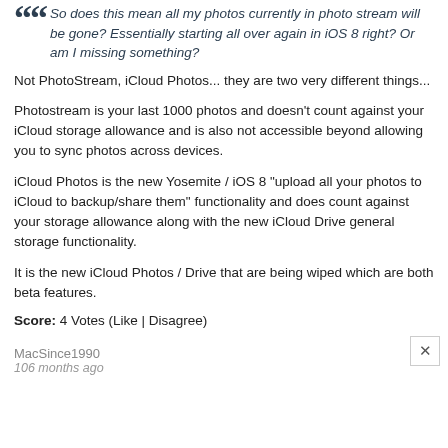So does this mean all my photos currently in photo stream will be gone? Essentially starting all over again in iOS 8 right? Or am I missing something?
Not PhotoStream, iCloud Photos... they are two very different things...
Photostream is your last 1000 photos and doesn't count against your iCloud storage allowance and is also not accessible beyond allowing you to sync photos across devices.
iCloud Photos is the new Yosemite / iOS 8 "upload all your photos to iCloud to backup/share them" functionality and does count against your storage allowance along with the new iCloud Drive general storage functionality.
It is the new iCloud Photos / Drive that are being wiped which are both beta features.
Score: 4 Votes (Like | Disagree)
MacSince1990
106 months ago